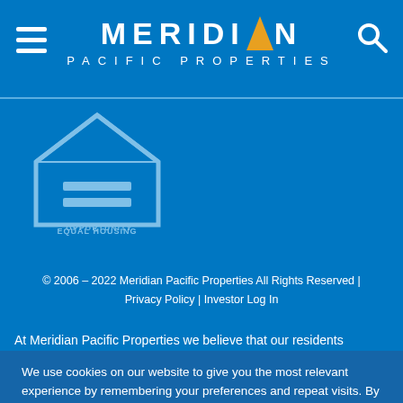[Figure (logo): Meridian Pacific Properties logo with navigation hamburger menu and search icon on blue header bar]
[Figure (logo): Equal Housing Opportunity logo — house outline with equals sign inside, text 'EQUAL HOUSING OPPORTUNITY' below]
© 2006 – 2022 Meridian Pacific Properties All Rights Reserved | Privacy Policy | Investor Log In
At Meridian Pacific Properties we believe that our residents
We use cookies on our website to give you the most relevant experience by remembering your preferences and repeat visits. By clicking "Accept All", you consent to the use of ALL the cookies. However, you may visit "Cookie Settings" to provide a controlled consent.
COOKIE SETTINGS
ACCEPT ALL